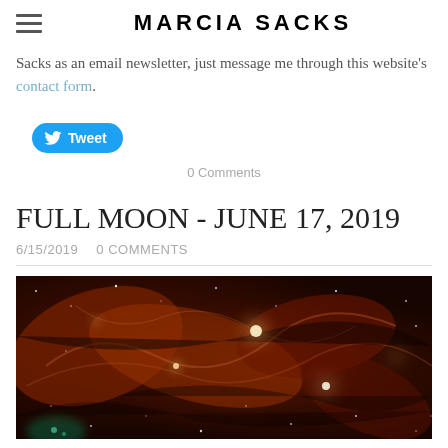MARCIA SACKS
Sacks as an email newsletter, just message me through this website's contact form.
[Figure (other): Blue Twitter Tweet button with bird icon]
0 Comments
FULL MOON - JUNE 17, 2019
6/15/2019   0 COMMENTS
[Figure (photo): Infrared or false-color space photograph showing nebula or galactic center — deep red, orange, and brown hues with bright star clusters and swirling gas clouds]